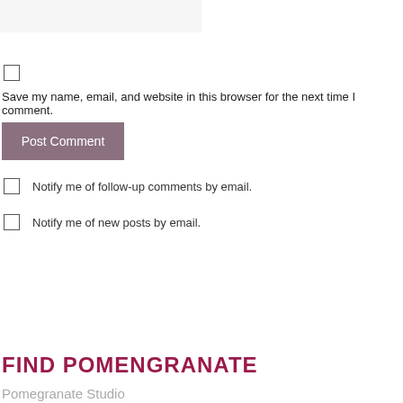[Figure (other): Gray input box (form field, partially visible at top)]
[Figure (other): Checkbox (unchecked)]
Save my name, email, and website in this browser for the next time I comment.
[Figure (other): Post Comment button (mauve/purple-gray background, white text)]
Notify me of follow-up comments by email.
Notify me of new posts by email.
FIND POMENGRANATE
Pomegranate Studio